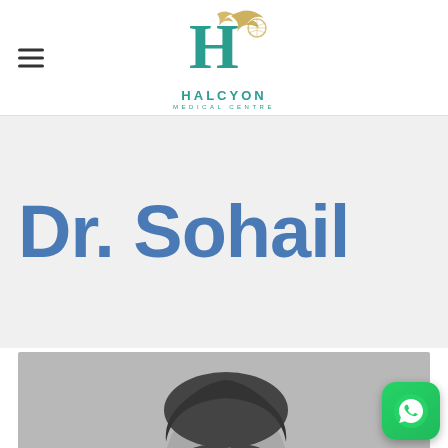[Figure (logo): Halcyon Medical Centre logo with stylized H and bird motif]
Dr. Sohail
[Figure (photo): Black and white headshot photo of Dr. Sohail, a male physician]
[Figure (other): WhatsApp chat button (green rounded square icon)]